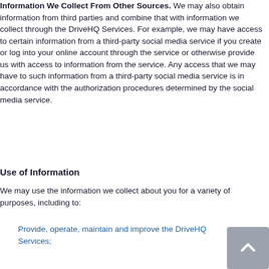Information We Collect From Other Sources. We may also obtain information from third parties and combine that with information we collect through the DriveHQ Services. For example, we may have access to certain information from a third-party social media service if you create or log into your online account through the service or otherwise provide us with access to information from the service. Any access that we may have to such information from a third-party social media service is in accordance with the authorization procedures determined by the social media service.
Use of Information
We may use the information we collect about you for a variety of purposes, including to:
Provide, operate, maintain and improve the DriveHQ Services;